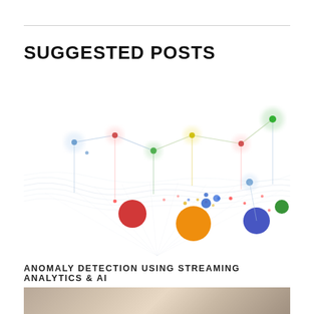SUGGESTED POSTS
[Figure (network-graph): Network graph visualization showing anomaly detection with colored nodes (red, blue, green, yellow, orange) connected by lines, with varying bubble sizes representing data points on a gradient background with flowing lines]
ANOMALY DETECTION USING STREAMING ANALYTICS & AI
[Figure (photo): Partial bottom image showing a person, cropped]